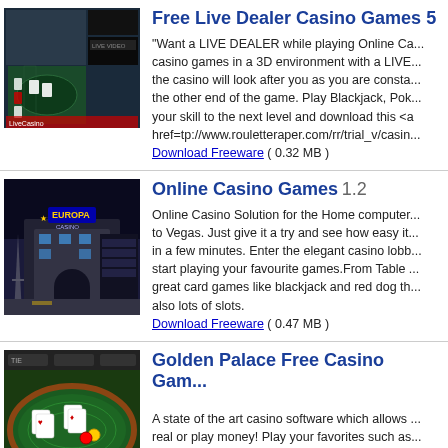[Figure (screenshot): Screenshot of a live dealer blackjack casino game interface with dark background]
Free Live Dealer Casino Games 5
"Want a LIVE DEALER while playing Online Ca... casino games in a 3D environment with a LIVE... the casino will look after you as you are consta... the other end of the game. Play Blackjack, Pok... your skill to the next level and download this <a href=tp://www.rouletteraper.com/rr/trial_v/casin... Download Freeware ( 0.32 MB )
[Figure (screenshot): Screenshot of Europa Casino building with stars and Eiffel Tower at night]
Online Casino Games 1.2
Online Casino Solution for the Home computer... to Vegas. Just give it a try and see how easy it... in a few minutes. Enter the elegant casino lobb... start playing your favourite games.From Table ... great card games like blackjack and red dog th... also lots of slots. Download Freeware ( 0.47 MB )
[Figure (screenshot): Screenshot of a casino card table with green felt and playing cards]
Golden Palace Free Casino Gam...
A state of the art casino software which allows ... real or play money! Play your favorites such as... Keno, Video Poker, Pai Gow, Red Dog Poker, G... is not all, we also offer Blackjack, Roulette, Bac...